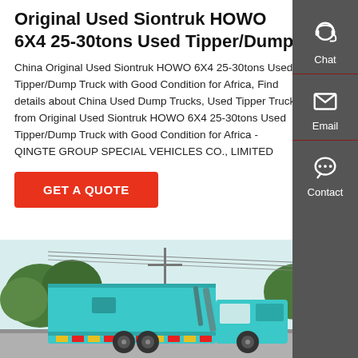Original Used Siontruk HOWO 6X4 25-30tons Used Tipper/Dump
China Original Used Siontruk HOWO 6X4 25-30tons Used Tipper/Dump Truck with Good Condition for Africa, Find details about China Used Dump Trucks, Used Tipper Truck from Original Used Siontruk HOWO 6X4 25-30tons Used Tipper/Dump Truck with Good Condition for Africa - QINGTE GROUP SPECIAL VEHICLES CO., LIMITED
[Figure (other): Red GET A QUOTE button]
[Figure (photo): Photo of a teal/turquoise Siontruk HOWO dump/tipper truck on a road with trees in background]
[Figure (infographic): Dark grey sidebar with Chat (headset icon), Email (envelope icon), and Contact (chat bubble icon) buttons]